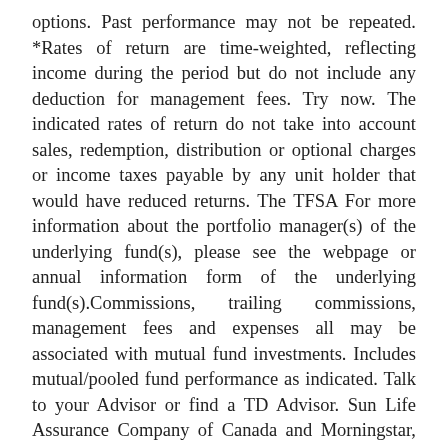options. Past performance may not be repeated. *Rates of return are time-weighted, reflecting income during the period but do not include any deduction for management fees. Try now. The indicated rates of return do not take into account sales, redemption, distribution or optional charges or income taxes payable by any unit holder that would have reduced returns. The TFSA For more information about the portfolio manager(s) of the underlying fund(s), please see the webpage or annual information form of the underlying fund(s).Commissions, trailing commissions, management fees and expenses all may be associated with mutual fund investments. Includes mutual/pooled fund performance as indicated. Talk to your Advisor or find a TD Advisor. Sun Life Assurance Company of Canada and Morningstar, together, are pleased to provide you this information on the investments available in your plan. All regions may not add up to 100% due to rounding. The fees and expenses - including any commissions - can vary among series of a fund and